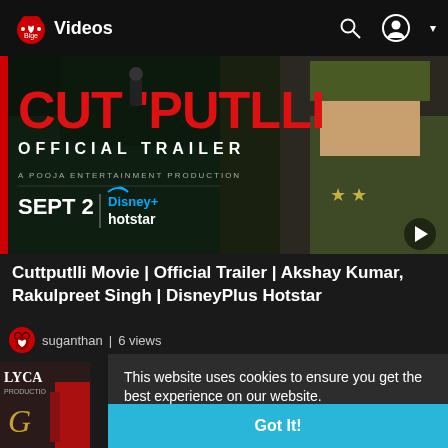Videos
[Figure (screenshot): Cuttputlli Official Trailer banner — red stylized title text 'CUTTPUTLLI', 'OFFICIAL TRAILER', 'A POOJA ENTERTAINMENT PRODUCTION', 'SEPT 2 | Disney+ hotstar' on dark background with a man in military uniform]
Cuttputlli Movie | Official Trailer | Akshay Kumar, Rakulpreet Singh | DisneyPlus Hotstar
suganthan  |  6 views
This website uses cookies to ensure you get the best experience on our website.
Learn More
Got It!